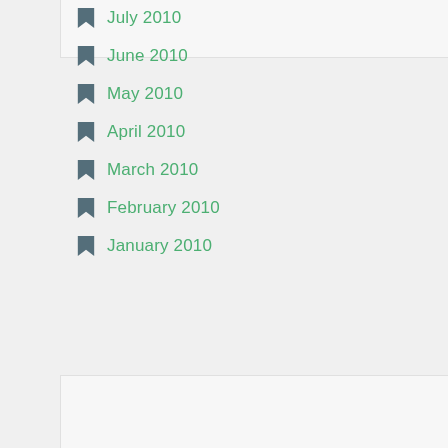July 2010
June 2010
May 2010
April 2010
March 2010
February 2010
January 2010